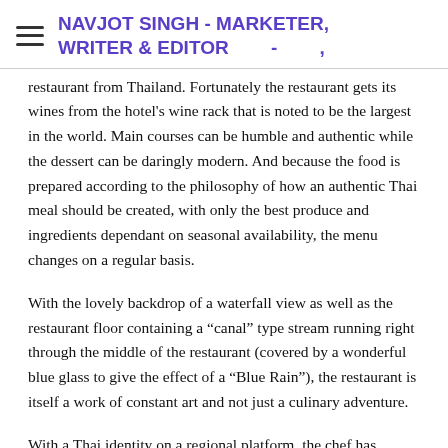NAVJOT SINGH - MARKETER, WRITER & EDITOR - ,
restaurant from Thailand. Fortunately the restaurant gets its wines from the hotel's wine rack that is noted to be the largest in the world. Main courses can be humble and authentic while the dessert can be daringly modern. And because the food is prepared according to the philosophy of how an authentic Thai meal should be created, with only the best produce and ingredients dependant on seasonal availability, the menu changes on a regular basis.
With the lovely backdrop of a waterfall view as well as the restaurant floor containing a “canal” type stream running right through the middle of the restaurant (covered by a wonderful blue glass to give the effect of a “Blue Rain”), the restaurant is itself a work of constant art and not just a culinary adventure.
With a Thai identity on a regional platform, the chef has